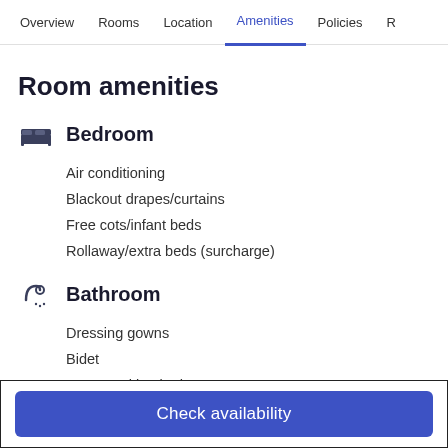Overview | Rooms | Location | Amenities | Policies | R
Room amenities
Bedroom
Air conditioning
Blackout drapes/curtains
Free cots/infant beds
Rollaway/extra beds (surcharge)
Bathroom
Dressing gowns
Bidet
Deep-soaking bath
Designer toiletries
Check availability